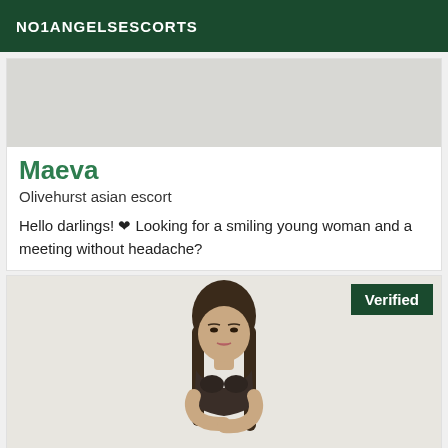NO1ANGELSESCORTS
[Figure (photo): Top portion of a photo with light gray/beige background, partial escort listing image]
Maeva
Olivehurst asian escort
Hello darlings! ❤ Looking for a smiling young woman and a meeting without headache?
[Figure (photo): Photo of a young woman with long dark hair, wearing a dark bra/lingerie top, posing against a light background. A green 'Verified' badge appears in the top right corner.]